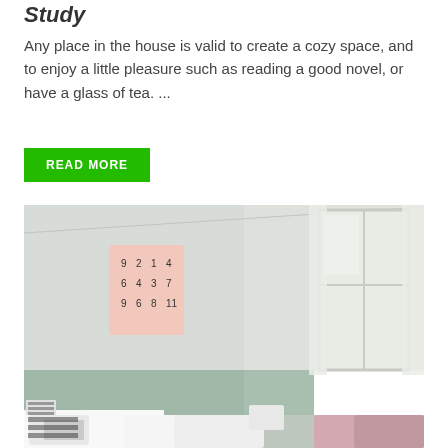Study
Any place in the house is valid to create a cozy space, and to enjoy a little pleasure such as reading a good novel, or have a glass of tea. ...
READ MORE
[Figure (photo): Interior room photo showing a light-colored room with a pink poster/chart on the wall displaying numbers in a grid, a window with white curtains on the right, a sage green lower wall panel, and pillows/bedding visible at the bottom.]